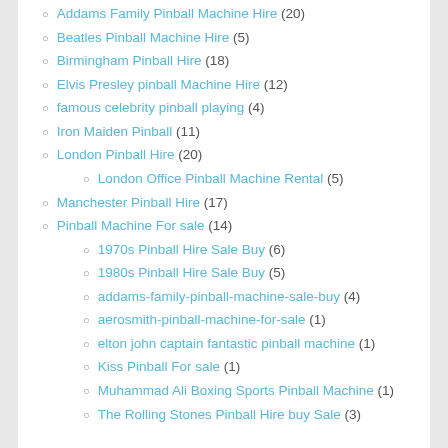Addams Family Pinball Machine Hire (20)
Beatles Pinball Machine Hire (5)
Birmingham Pinball Hire (18)
Elvis Presley pinball Machine Hire (12)
famous celebrity pinball playing (4)
Iron Maiden Pinball (11)
London Pinball Hire (20)
London Office Pinball Machine Rental (5)
Manchester Pinball Hire (17)
Pinball Machine For sale (14)
1970s Pinball Hire Sale Buy (6)
1980s Pinball Hire Sale Buy (5)
addams-family-pinball-machine-sale-buy (4)
aerosmith-pinball-machine-for-sale (1)
elton john captain fantastic pinball machine (1)
Kiss Pinball For sale (1)
Muhammad Ali Boxing Sports Pinball Machine (1)
The Rolling Stones Pinball Hire buy Sale (3)